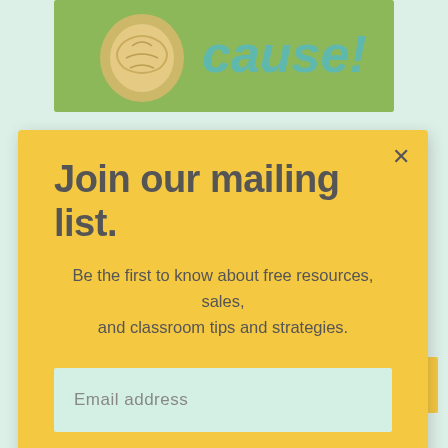[Figure (screenshot): Background webpage with green banner at top showing partial text and illustration, and purple banner at bottom showing 'Drawing' text. Yellow scroll-to-top button at bottom right.]
Join our mailing list.
Be the first to know about free resources, sales, and classroom tips and strategies.
Email address
Subscribe